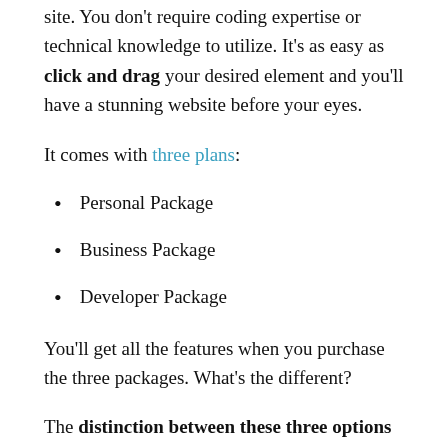site. You don't require coding expertise or technical knowledge to utilize. It's as easy as click and drag your desired element and you'll have a stunning website before your eyes.
It comes with three plans:
Personal Package
Business Package
Developer Package
You'll get all the features when you purchase the three packages. What's the different?
The distinction between these three options is in the way that they use the plugin on various websites. What is it? You are only able to make use of the personal version for one WordPress website. The